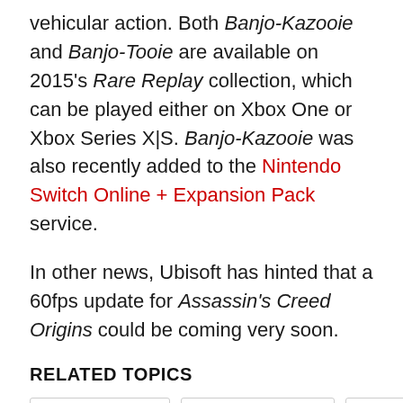vehicular action. Both Banjo-Kazooie and Banjo-Tooie are available on 2015's Rare Replay collection, which can be played either on Xbox One or Xbox Series X|S. Banjo-Kazooie was also recently added to the Nintendo Switch Online + Expansion Pack service.
In other news, Ubisoft has hinted that a 60fps update for Assassin's Creed Origins could be coming very soon.
RELATED TOPICS
Banjo-Kazooie
Nintendo Switch
Rare